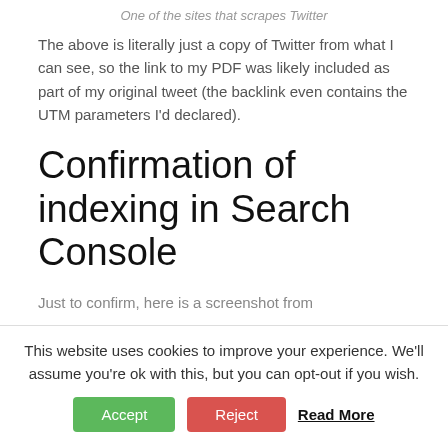One of the sites that scrapes Twitter
The above is literally just a copy of Twitter from what I can see, so the link to my PDF was likely included as part of my original tweet (the backlink even contains the UTM parameters I'd declared).
Confirmation of indexing in Search Console
Just to confirm, here is a screenshot from
This website uses cookies to improve your experience. We'll assume you're ok with this, but you can opt-out if you wish. Accept Reject Read More